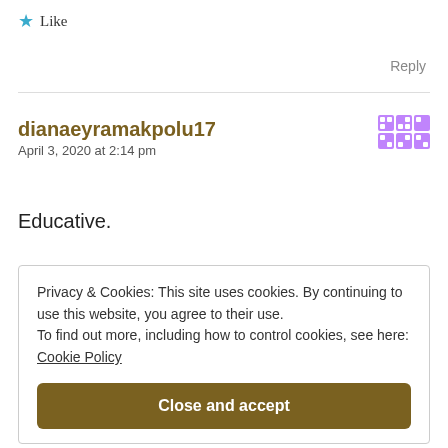★ Like
Reply
dianaeyramakpolu17
April 3, 2020 at 2:14 pm
Educative.
Privacy & Cookies: This site uses cookies. By continuing to use this website, you agree to their use.
To find out more, including how to control cookies, see here: Cookie Policy
Close and accept